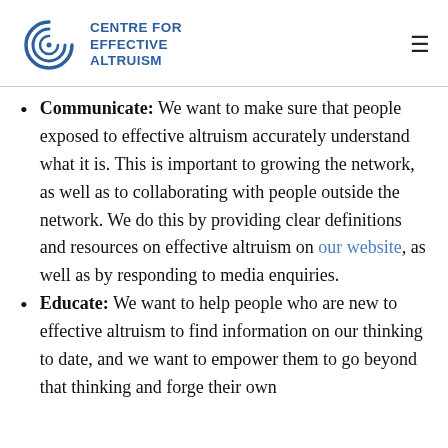CENTRE FOR EFFECTIVE ALTRUISM
Communicate: We want to make sure that people exposed to effective altruism accurately understand what it is. This is important to growing the network, as well as to collaborating with people outside the network. We do this by providing clear definitions and resources on effective altruism on our website, as well as by responding to media enquiries.
Educate: We want to help people who are new to effective altruism to find information on our thinking to date, and we want to empower them to go beyond that thinking and forge their own